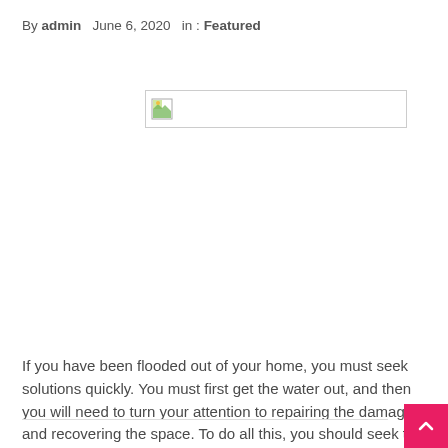By admin   June 6, 2020   in : Featured
[Figure (photo): Broken/missing image placeholder with a small landscape icon in the top-left corner]
If you have been flooded out of your home, you must seek solutions quickly. You must first get the water out, and then you will need to turn your attention to repairing the damage and recovering the space. To do all this, you should seek the advice and services of a company that specializes in Flood Damage Ogden. Such a ...